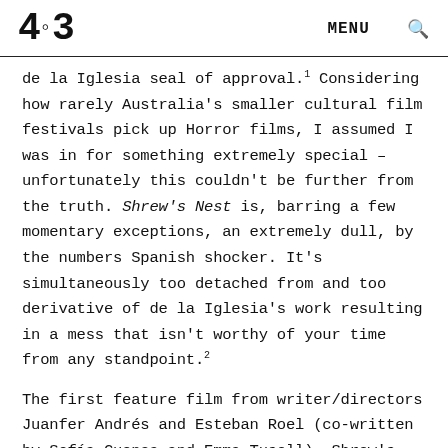4:3  MENU 🔍
de la Iglesia seal of approval.¹ Considering how rarely Australia's smaller cultural film festivals pick up Horror films, I assumed I was in for something extremely special – unfortunately this couldn't be further from the truth. Shrew's Nest is, barring a few momentary exceptions, an extremely dull, by the numbers Spanish shocker. It's simultaneously too detached from and too derivative of de la Iglesia's work resulting in a mess that isn't worthy of your time from any standpoint.²
The first feature film from writer/directors Juanfer Andrés and Esteban Roel (co-written by Sofía Cuenca and Emma Tusell), Shrew's Nest follows Montse (Macarena Gómez), a controlling, delusional, housebound tailor who has spent her youth raising her sister Nia (Nadia de Santiago), a rebellious